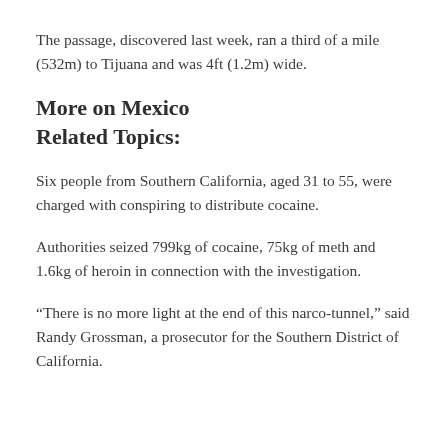The passage, discovered last week, ran a third of a mile (532m) to Tijuana and was 4ft (1.2m) wide.
More on Mexico
Related Topics:
Six people from Southern California, aged 31 to 55, were charged with conspiring to distribute cocaine.
Authorities seized 799kg of cocaine, 75kg of meth and 1.6kg of heroin in connection with the investigation.
“There is no more light at the end of this narco-tunnel,” said Randy Grossman, a prosecutor for the Southern District of California.